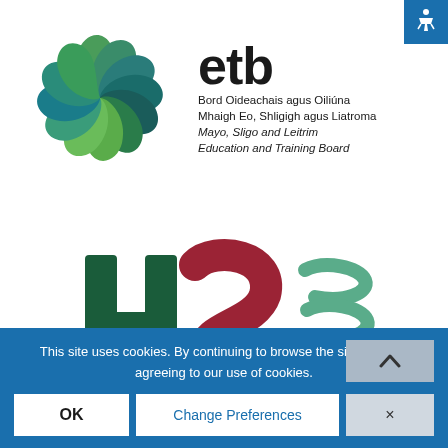[Figure (logo): ETB Mayo Sligo Leitrim Education and Training Board logo with swirl graphic and text]
[Figure (logo): HSE (Health Service Executive) logo with stylized H and swoosh marks in green, red, and teal]
This site uses cookies. By continuing to browse the site, you are agreeing to our use of cookies.
OK
Change Preferences
×